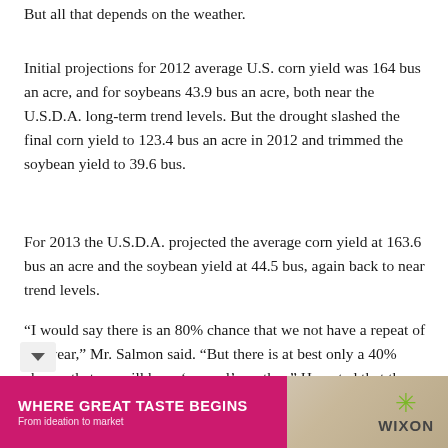But all that depends on the weather.
Initial projections for 2012 average U.S. corn yield was 164 bus an acre, and for soybeans 43.9 bus an acre, both near the U.S.D.A. long-term trend levels. But the drought slashed the final corn yield to 123.4 bus an acre in 2012 and trimmed the soybean yield to 39.6 bus.
For 2013 the U.S.D.A. projected the average corn yield at 163.6 bus an acre and the soybean yield at 44.5 bus, again back to near trend levels.
“I would say there is an 80% chance that we not have a repeat of last year,” Mr. Salmon said. “But there is at best only a 40% chance that we will have ‘normal’ weather.” He noted that the … is not to have back-to-back years of drought, which
[Figure (advertisement): WHERE GREAT TASTE BEGINS — From ideation to market — WIXON advertisement banner with pink/magenta background on left and food imagery on right]